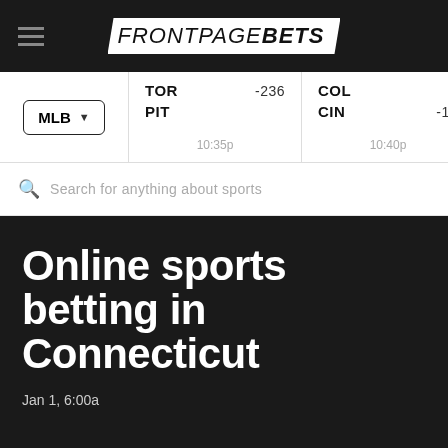FRONTPAGEBETS
| League | Team1 | Odds1 | Team2 | Odds2 | Time |
| --- | --- | --- | --- | --- | --- |
| MLB | TOR | -236 | COL |  | 10:35p |
|  | PIT |  | CIN | -11 | 10:40p |
Search for anything about sports
Online sports betting in Connecticut
Jan 1, 6:00a